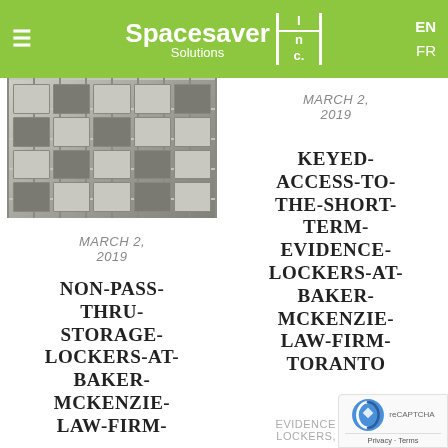Spacesaver Solutions Inc. | EN | FR
[Figure (photo): Photo of metal storage lockers/evidence lockers at a law firm]
MARCH 2, 2019
NON-PASS-THRU-STORAGE-LOCKERS-AT-BAKER-MCKENZIE-LAW-FIRM-
MARCH 2, 2019
KEYED-ACCESS-TO-THE-SHORT-TERM-EVIDENCE-LOCKERS-AT-BAKER-MCKENZIE-LAW-FIRM-TORANTO
EVIDENCE STORAGE LOCKERS, LOCKERS